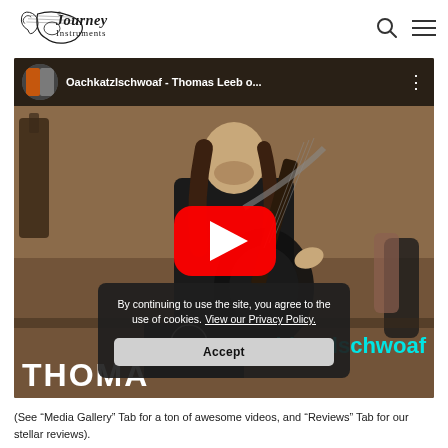[Figure (logo): Journey Instruments logo with guitar icon and cursive text]
[Figure (screenshot): YouTube video embed showing 'Oachkatzlschwoaf - Thomas Leeb o...' with a guitarist playing in a music store, YouTube play button overlay, and text 'THOMAS' and 'Oachkatzlschwoaf' on the video. Cookie consent overlay visible with text 'By continuing to use the site, you agree to the use of cookies. View our Privacy Policy.' and Accept button.]
(See “Media Gallery” Tab for a ton of awesome videos, and “Reviews” Tab for our stellar reviews).